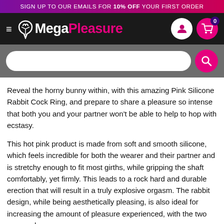SIGN UP TO OUR EMAILS FOR 10% OFF YOUR FIRST ORDER
[Figure (logo): MegaPleasure website header with logo, hamburger menu, user icon, and cart icon showing 0 items]
[Figure (screenshot): Search bar with magnifying glass button on grey background]
Reveal the horny bunny within, with this amazing Pink Silicone Rabbit Cock Ring, and prepare to share a pleasure so intense that both you and your partner won't be able to help to hop with ecstasy.
This hot pink product is made from soft and smooth silicone, which feels incredible for both the wearer and their partner and is stretchy enough to fit most girths, while gripping the shaft comfortably, yet firmly. This leads to a rock hard and durable erection that will result in a truly explosive orgasm. The rabbit design, while being aesthetically pleasing, is also ideal for increasing the amount of pleasure experienced, with the two ears and